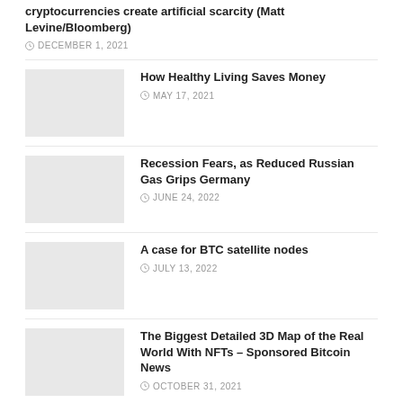cryptocurrencies create artificial scarcity (Matt Levine/Bloomberg)
DECEMBER 1, 2021
[Figure (photo): Thumbnail placeholder image]
How Healthy Living Saves Money
MAY 17, 2021
[Figure (photo): Thumbnail placeholder image]
Recession Fears, as Reduced Russian Gas Grips Germany
JUNE 24, 2022
[Figure (photo): Thumbnail placeholder image]
A case for BTC satellite nodes
JULY 13, 2022
[Figure (photo): Thumbnail placeholder image]
The Biggest Detailed 3D Map of the Real World With NFTs – Sponsored Bitcoin News
OCTOBER 31, 2021
[Figure (photo): Thumbnail document image]
Microsoft Windows Security Updates